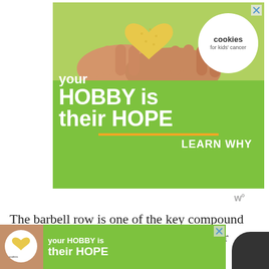[Figure (illustration): Advertisement banner for 'Cookies for Kids' Cancer' showing hands holding a heart-shaped cookie on a green background with text 'your HOBBY is their HOPE - LEARN WHY' and a white circular logo]
The barbell row is one of the key compound exercises that most beginners add to their workout to increase upper b...
[Figure (illustration): Bottom advertisement banner for 'Cookies for Kids' Cancer' repeating the 'your HOBBY is their HOPE' message on green background]